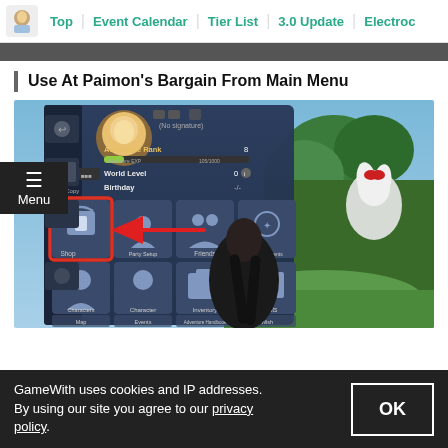Top | Event Calendar | Tier List | 3.0 Update | Electroc
Use At Paimon's Bargain From Main Menu
[Figure (screenshot): Genshin Impact main menu screenshot showing the in-game menu with icons for Shop (highlighted with red box and arrow), Party Setup, Friends, Achievements, Characters, Character, Inventory, Quests, Map, Events, Adventure Handbook, Wish. A character with white hair is visible in the background.]
GameWith uses cookies and IP addresses. By using our site you agree to our privacy policy.